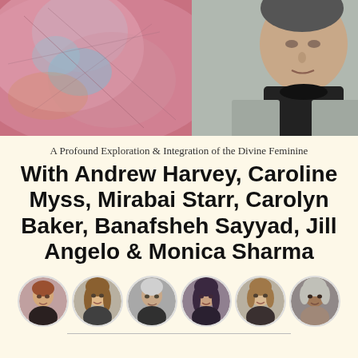[Figure (photo): Top banner photo showing Andrew Harvey (man in black turtleneck and grey jacket) on the right, with a colorful abstract/artistic background featuring pinks, oranges, and blues on the left]
A Profound Exploration & Integration of the Divine Feminine
With Andrew Harvey, Caroline Myss, Mirabai Starr, Carolyn Baker, Banafsheh Sayyad, Jill Angelo & Monica Sharma
[Figure (photo): Row of six circular portrait photographs of women speakers: Caroline Myss, Mirabai Starr, Carolyn Baker, Banafsheh Sayyad, Jill Angelo, Monica Sharma]